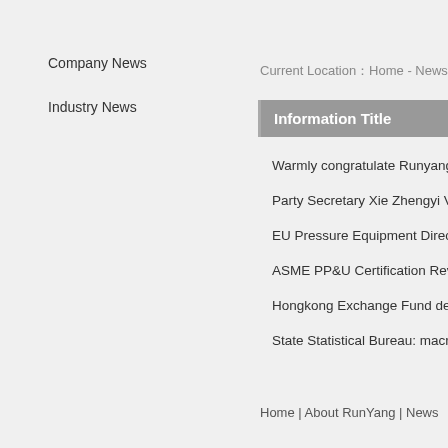Company News
Industry News
Current Location：Home - News
Information Title
Warmly congratulate Runyang obtain...
Party Secretary Xie Zhengyi Visit wo...
EU Pressure Equipment Directive(P...
ASME PP&U Certification Reviewe...
Hongkong Exchange Fund deficit 52...
State Statistical Bureau: macroecon...
Home | About RunYang | News...